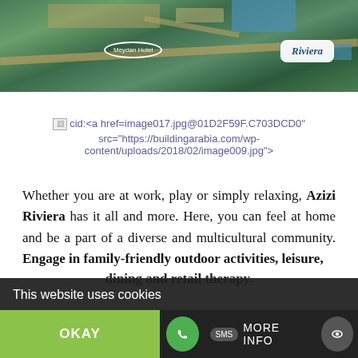[Figure (map): Aerial/map view of Azizi Riviera development showing roads, greenery, and water features. Two labeled oval/rectangle callouts: 'Meydan Hotel' on left and 'Riviera' logo on right.]
cid:<a href=image017.jpg@01D2F59F.C703DCD0" src="https://buildingarabia.com/wp-content/uploads/2018/02/image009.jpg">
Whether you are at work, play or simply relaxing, Azizi Riviera has it all and more. Here, you can feel at home and be a part of a diverse and multicultural community. Engage in family-friendly outdoor activities, leisure, dining and retail therapy.
This website uses cookies
OKAY
MORE INFO